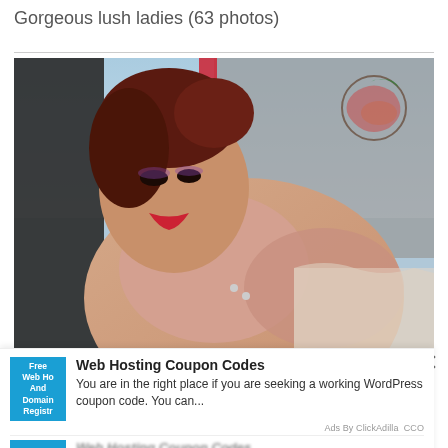Gorgeous lush ladies (63 photos)
[Figure (photo): Close-up photo of a woman with red hair and red lipstick, wearing a red strap top, with tattoos visible on upper arm, semi-nude.]
Web Hosting Coupon Codes
You are in the right place if you are seeking a working WordPress coupon code. You can...
Ads By ClickAdilla CCO
You are in the right place if you are seeking a working WordPress coupon code. You can...